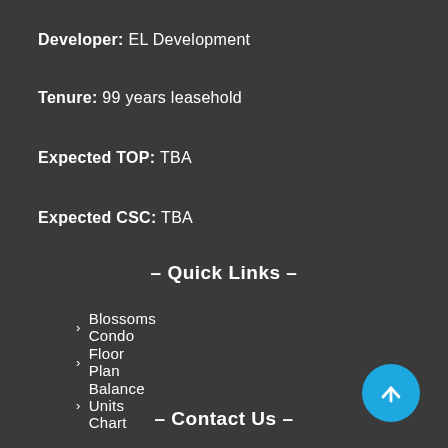Developer: EL Development
Tenure: 99 years leasehold
Expected TOP: TBA
Expected CSC: TBA
– Quick Links –
> Blossoms Condo
> Site Plan
> Floor Plan
> Pricing
> Balance Units Chart
> Book Appointment
– Contact Us –